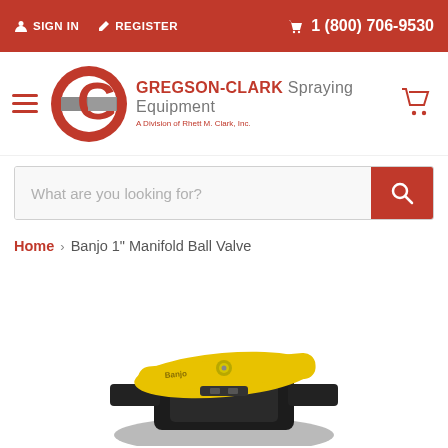SIGN IN   REGISTER   1 (800) 706-9530
[Figure (logo): Gregson-Clark Spraying Equipment logo with red G circle and company name]
What are you looking for?
Home > Banjo 1" Manifold Ball Valve
[Figure (photo): Banjo 1 inch Manifold Ball Valve product photo showing black valve body with yellow handle]